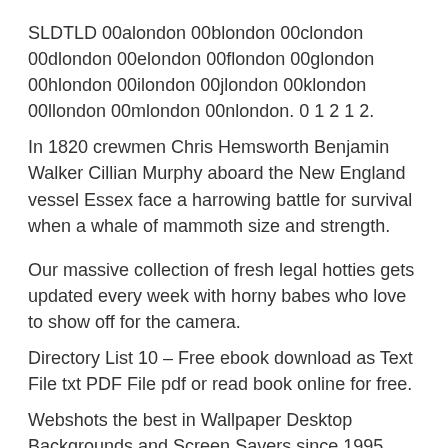SLDTLD 00alondon 00blondon 00clondon 00dlondon 00elondon 00flondon 00glondon 00hlondon 00ilondon 00jlondon 00klondon 00llondon 00mlondon 00nlondon. 0 1 2 1 2.
In 1820 crewmen Chris Hemsworth Benjamin Walker Cillian Murphy aboard the New England vessel Essex face a harrowing battle for survival when a whale of mammoth size and strength.
Our massive collection of fresh legal hotties gets updated every week with horny babes who love to show off for the camera.
Directory List 10 – Free ebook download as Text File txt PDF File pdf or read book online for free.
Webshots the best in Wallpaper Desktop Backgrounds and Screen Savers since 1995.